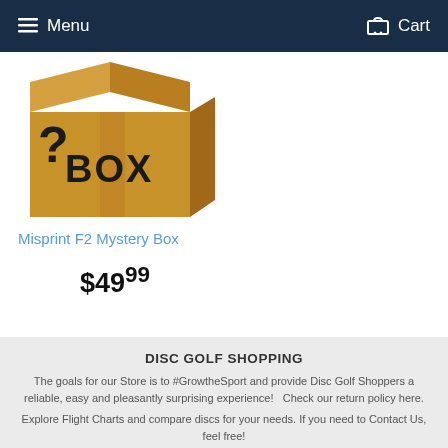Menu   Cart
[Figure (illustration): A cardboard mystery box with a question mark and the word BOX printed on it, shown in 3D perspective on a white background.]
Misprint F2 Mystery Box
$49.99
DISC GOLF SHOPPING
The goals for our Store is to #GrowtheSport and provide Disc Golf Shoppers a reliable, easy and pleasantly surprising experience!   Check our return policy here.
Explore Flight Charts and compare discs for your needs. If you need to Contact Us, feel free!